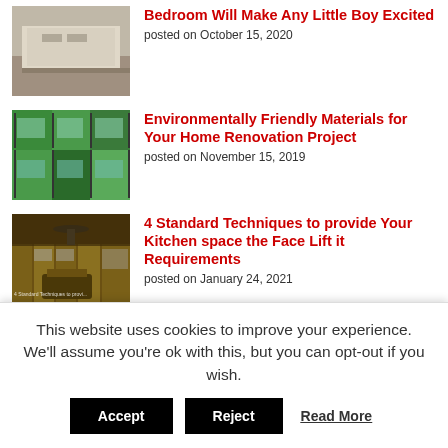[Figure (photo): Bedroom with bed and gray bedding]
Bedroom Will Make Any Little Boy Excited
posted on October 15, 2020
[Figure (photo): Green living wall with large windows]
Environmentally Friendly Materials for Your Home Renovation Project
posted on November 15, 2019
[Figure (photo): Kitchen interior with wood cabinets]
4 Standard Techniques to provide Your Kitchen space the Face Lift it Requirements
posted on January 24, 2021
[Figure (photo): White/light background image for 35 Boy Bedroom Concepts]
35 Boy Bedroom Concepts To
This website uses cookies to improve your experience. We'll assume you're ok with this, but you can opt-out if you wish.